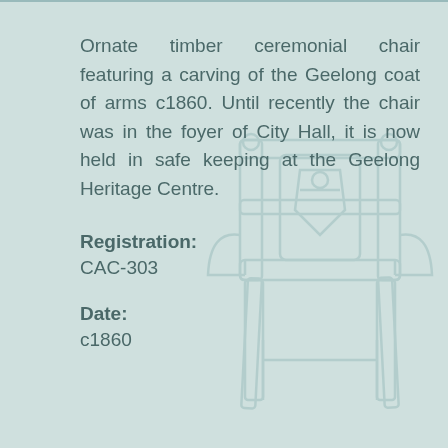Ornate timber ceremonial chair featuring a carving of the Geelong coat of arms c1860. Until recently the chair was in the foyer of City Hall, it is now held in safe keeping at the Geelong Heritage Centre.
Registration:
CAC-303
Date:
c1860
[Figure (illustration): Faint watermark illustration of an ornate ceremonial chair in the background]